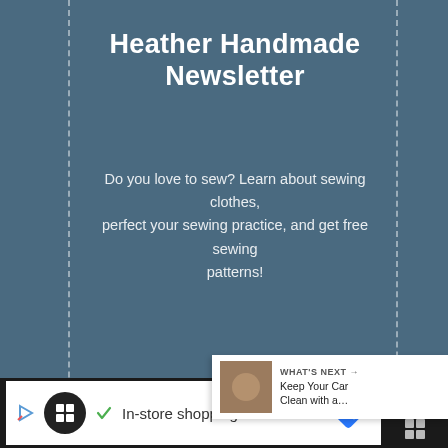Heather Handmade Newsletter
Do you love to sew? Learn about sewing clothes, perfect your sewing practice, and get free sewing patterns!
[Figure (infographic): Newsletter signup form with Name and Email fields and a SUBSCRIBE! button on a blue-grey background with zigzag decorative border]
[Figure (screenshot): Bottom advertisement bar showing 'In-store shopping' with icons on dark background]